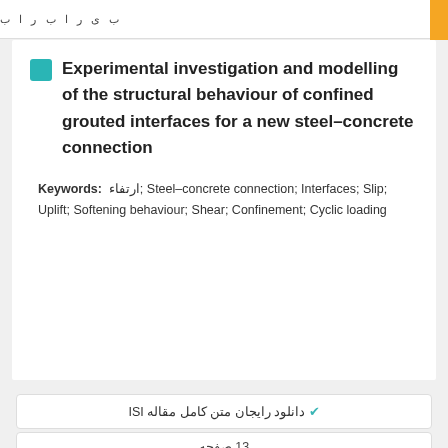Experimental investigation and modelling of the structural behaviour of confined grouted interfaces for a new steel–concrete connection
Keywords: ارتفاء; Steel–concrete connection; Interfaces; Slip; Uplift; Softening behaviour; Shear; Confinement; Cyclic loading
✔ دانلود رایگان متن کامل مقاله ISI
13 صفحه
2014